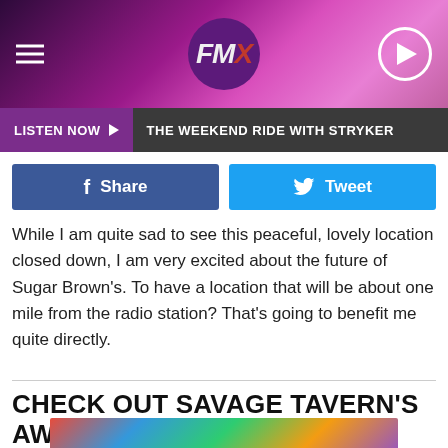FMX 94.5
LISTEN NOW  THE WEEKEND RIDE WITH STRYKER
[Figure (other): Facebook Share button and Twitter Tweet button]
While I am quite sad to see this peaceful, lovely location closed down, I am very excited about the future of Sugar Brown's. To have a location that will be about one mile from the radio station? That's going to benefit me quite directly.
CHECK OUT SAVAGE TAVERN'S AWESOME NEW MURAL
[Figure (photo): Colorful graffiti mural with vibrant lettering and checkered patterns]